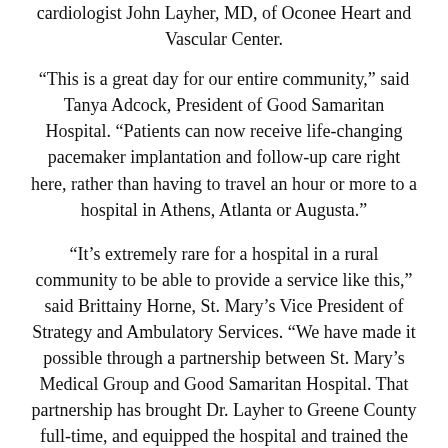cardiologist John Layher, MD, of Oconee Heart and Vascular Center.
“This is a great day for our entire community,” said Tanya Adcock, President of Good Samaritan Hospital. “Patients can now receive life-changing pacemaker implantation and follow-up care right here, rather than having to travel an hour or more to a hospital in Athens, Atlanta or Augusta.”
“It’s extremely rare for a hospital in a rural community to be able to provide a service like this,” said Brittainy Horne, St. Mary’s Vice President of Strategy and Ambulatory Services. “We have made it possible through a partnership between St. Mary’s Medical Group and Good Samaritan Hospital. That partnership has brought Dr. Layher to Greene County full-time, and equipped the hospital and trained the staff for this major new service line.”
A pacemaker is a device that is used to treat patients with abnormally slow heart rates. Slow heart rates can cause problems that range from uncomfortable to